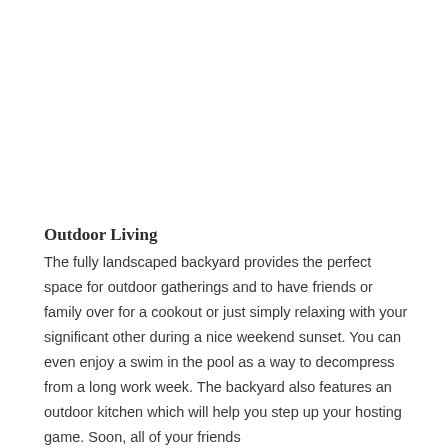Outdoor Living
The fully landscaped backyard provides the perfect space for outdoor gatherings and to have friends or family over for a cookout or just simply relaxing with your significant other during a nice weekend sunset. You can even enjoy a swim in the pool as a way to decompress from a long work week. The backyard also features an outdoor kitchen which will help you step up your hosting game. Soon, all of your friends